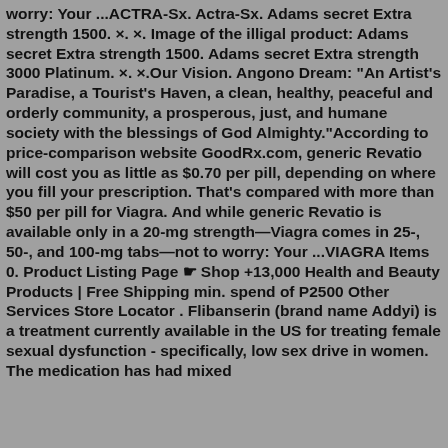worry: Your ...ACTRA-Sx. Actra-Sx. Adams secret Extra strength 1500. ×. ×. Image of the illigal product: Adams secret Extra strength 1500. Adams secret Extra strength 3000 Platinum. ×. ×.Our Vision. Angono Dream: "An Artist's Paradise, a Tourist's Haven, a clean, healthy, peaceful and orderly community, a prosperous, just, and humane society with the blessings of God Almighty."According to price-comparison website GoodRx.com, generic Revatio will cost you as little as $0.70 per pill, depending on where you fill your prescription. That's compared with more than $50 per pill for Viagra. And while generic Revatio is available only in a 20-mg strength—Viagra comes in 25-, 50-, and 100-mg tabs—not to worry: Your ...VIAGRA Items 0. Product Listing Page ☛ Shop +13,000 Health and Beauty Products | Free Shipping min. spend of P2500 Other Services Store Locator . Flibanserin (brand name Addyi) is a treatment currently available in the US for treating female sexual dysfunction - specifically, low sex drive in women. The medication has had mixed